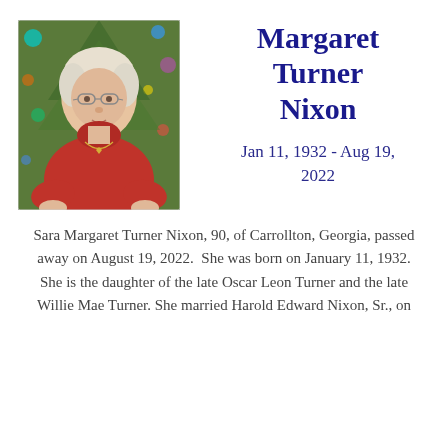[Figure (photo): Portrait photo of an elderly woman with short white hair, wearing a red turtleneck sweater and a gold star necklace, in front of a Christmas tree with colorful lights.]
Margaret Turner Nixon
Jan 11, 1932 - Aug 19, 2022
Sara Margaret Turner Nixon, 90, of Carrollton, Georgia, passed away on August 19, 2022.  She was born on January 11, 1932.  She is the daughter of the late Oscar Leon Turner and the late Willie Mae Turner.  She married Harold Edward Nixon, Sr., on